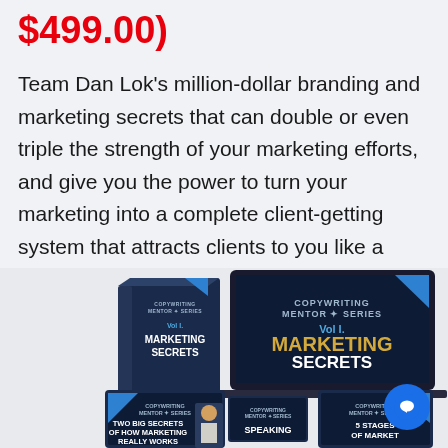$499.00)
Team Dan Lok’s million-dollar branding and marketing secrets that can double or even triple the strength of your marketing efforts, and give you the power to turn your marketing into a complete client-getting system that attracts clients to you like a magnet 24/7.
[Figure (photo): Product image showing multiple devices (laptop, tablet, phone) and a book box displaying 'Copywriting Mentor Series Vol I. Marketing Secrets' in dark navy blue with gold text. Bottom row shows additional course thumbnails including 'Two Big Secrets of How Marketing Really Works', 'Speaking', and '5 Stages of Market'.]